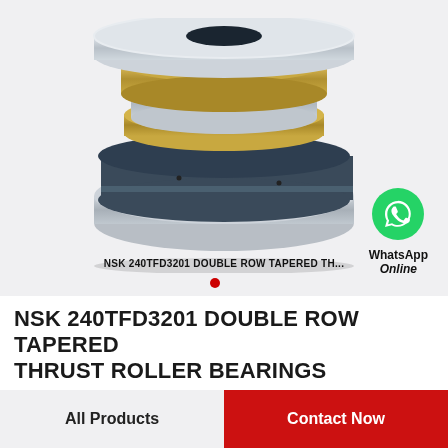[Figure (illustration): NSK 240TFD3201 double row tapered thrust roller bearing shown in 3D perspective view. The bearing has a cylindrical shape with multiple rings: outer steel rings (silver/chrome), inner gold/brass colored rings, and dark blue/black cage/body section in the middle. Shown from slightly above at an angle.]
NSK 240TFD3201 DOUBLE ROW TAPERED TH...
[Figure (logo): WhatsApp green circle logo icon with phone handset symbol in white]
WhatsApp Online
NSK 240TFD3201 DOUBLE ROW TAPERED THRUST ROLLER BEARINGS
All Products
Contact Now